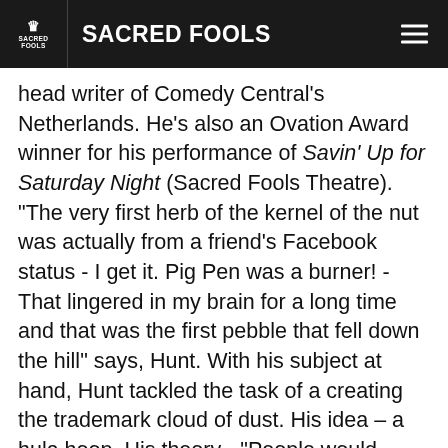SACRED FOOLS
head writer of Comedy Central's Netherlands. He's also an Ovation Award winner for his performance of Savin' Up for Saturday Night (Sacred Fools Theatre). "The very first herb of the kernel of the nut was actually from a friend's Facebook status - I get it. Pig Pen was a burner! - That lingered in my brain for a long time and that was the first pebble that fell down the hill" says, Hunt. With his subject at hand, Hunt tackled the task of a creating the trademark cloud of dust. His idea – a hula hoop. His theory - "People would probably get used to it and suspend disbelief long enough to believe it's a cloud of dirt."